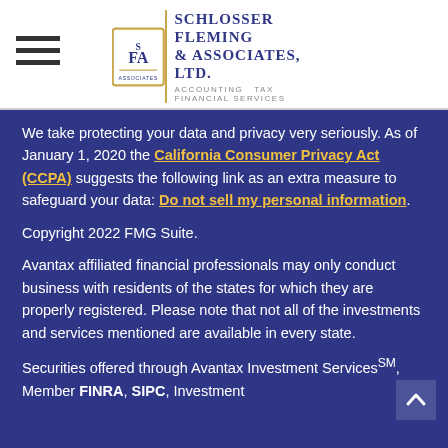[Figure (logo): Schlosser Fleming & Associates, Ltd. logo with SFA monogram and tagline: Accounting · Tax · Financial Services]
We take protecting your data and privacy very seriously. As of January 1, 2020 the California Consumer Privacy Act (CCPA) suggests the following link as an extra measure to safeguard your data: Do not sell my personal information.
Copyright 2022 FMG Suite.
Avantax affiliated financial professionals may only conduct business with residents of the states for which they are properly registered. Please note that not all of the investments and services mentioned are available in every state.
Securities offered through Avantax Investment Services℠, Member FINRA, SIPC, Investment